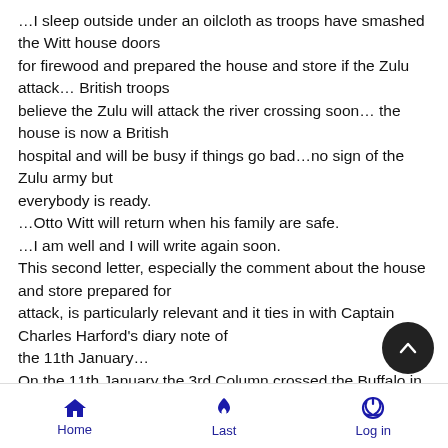…I sleep outside under an oilcloth as troops have smashed the Witt house doors for firewood and prepared the house and store if the Zulu attack… British troops believe the Zulu will attack the river crossing soon… the house is now a British hospital and will be busy if things go bad…no sign of the Zulu army but everybody is ready. …Otto Witt will return when his family are safe. …I am well and I will write again soon. This second letter, especially the comment about the house and store prepared for attack, is particularly relevant and it ties in with Captain Charles Harford's diary note of the 11th January… On the 11th January the 3rd Column crossed the Buffalo in Zululand, the troops
Home  Last  Log in